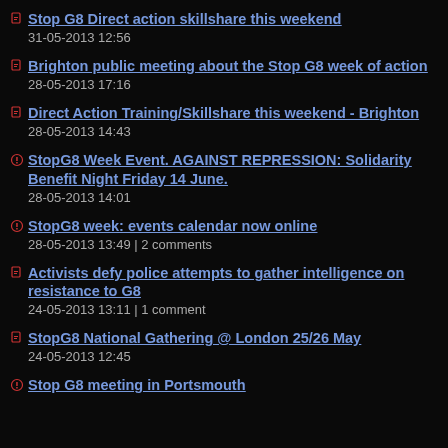Stop G8 Direct action skillshare this weekend
31-05-2013 12:56
Brighton public meeting about the Stop G8 week of action
28-05-2013 17:16
Direct Action Training/Skillshare this weekend - Brighton
28-05-2013 14:43
StopG8 Week Event. AGAINST REPRESSION: Solidarity Benefit Night Friday 14 June.
28-05-2013 14:01
StopG8 week: events calendar now online
28-05-2013 13:49 | 2 comments
Activists defy police attempts to gather intelligence on resistance to G8
24-05-2013 13:11 | 1 comment
StopG8 National Gathering @ London 25/26 May
24-05-2013 12:45
Stop G8 meeting in Portsmouth